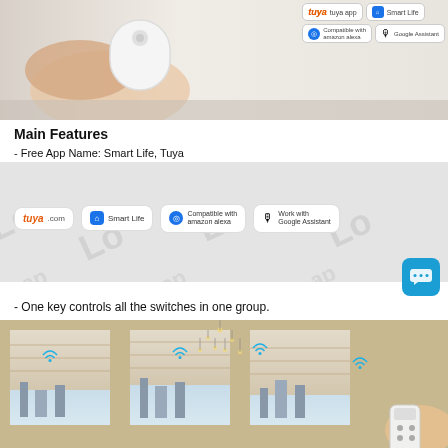[Figure (photo): Hand holding a small white wireless remote/button device, with app compatibility badges (tuya app, Smart Life, Amazon Alexa, Google Assistant) overlaid top-right]
Main Features
- Free App Name: Smart Life, Tuya
[Figure (infographic): App compatibility banner showing tuya.com, Smart Life, Compatible with Amazon Alexa, Work with Google Assistant badges on a light grey background with watermark text]
- One key controls all the switches in one group.
[Figure (photo): Interior room with motorized roller blinds partially open showing city view, pendant lights, WiFi symbols displayed on blinds, person holding remote at right edge]